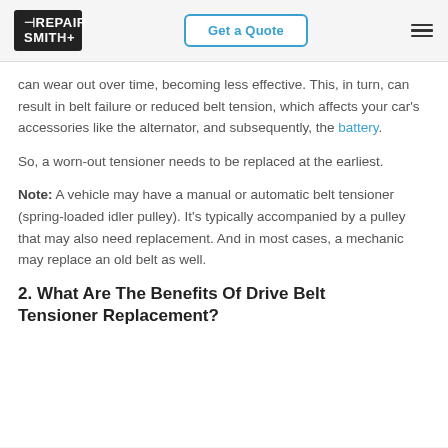RepairSmith | Get a Quote
can wear out over time, becoming less effective. This, in turn, can result in belt failure or reduced belt tension, which affects your car's accessories like the alternator, and subsequently, the battery.
So, a worn-out tensioner needs to be replaced at the earliest.
Note: A vehicle may have a manual or automatic belt tensioner (spring-loaded idler pulley). It's typically accompanied by a pulley that may also need replacement. And in most cases, a mechanic may replace an old belt as well.
2. What Are The Benefits Of Drive Belt Tensioner Replacement?